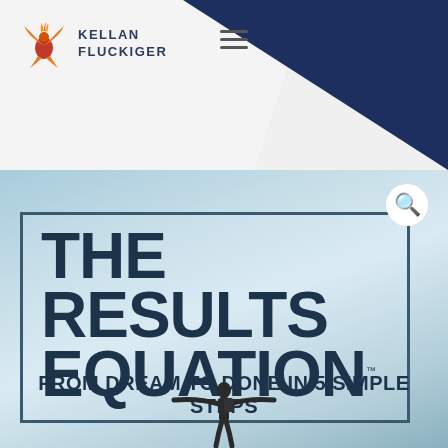[Figure (logo): Kellan Fluckiger logo with phoenix bird icon in orange/red and text 'KELLAN FLUCKIGER' in dark blue, with hamburger menu icon]
[Figure (illustration): Book cover image for 'The Results Equation - From Dream to Done in 5 Simple Steps' displayed against a sky blue background, with a silhouette of a person with arms outstretched at the bottom. A search icon appears in the upper right.]